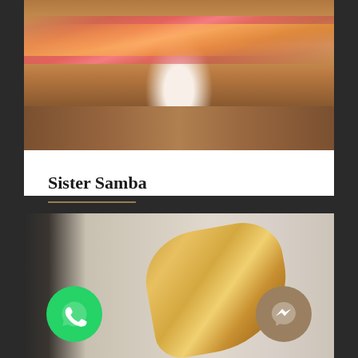[Figure (photo): Photo of a performer in white dress sitting on stage with colorful pink and red ribbon/streamer backdrop, other people visible in background]
Sister Samba
Awards Ceremony
[Figure (photo): Photo of a woman with long dark hair playing a gold saxophone intensely, with WhatsApp and Facebook Messenger chat buttons overlaid on the image]